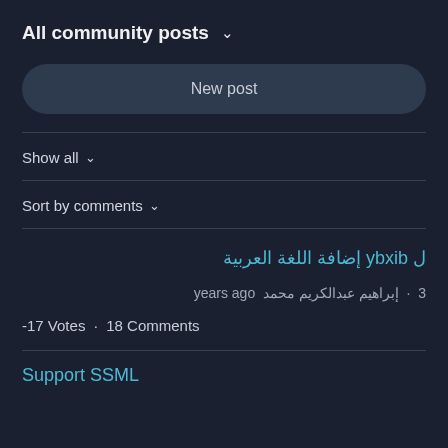All community posts ∨
New post
Show all ∨
Sort by comments ∨
إضافة اللغة العربية ل bixby
3 · إبراهيم عبدالكريم محمد years ago
-17 Votes · 18 Comments
Support SSML